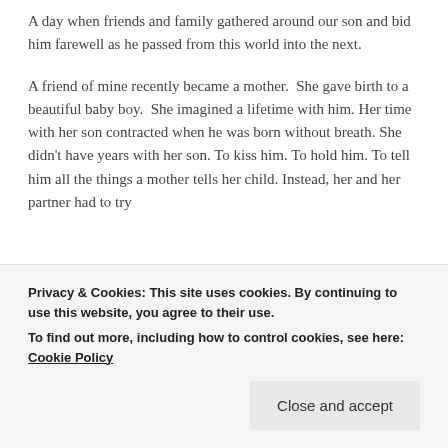A day when friends and family gathered around our son and bid him farewell as he passed from this world into the next.
A friend of mine recently became a mother.  She gave birth to a beautiful baby boy.  She imagined a lifetime with him. Her time with her son contracted when he was born without breath. She didn't have years with her son. To kiss him. To hold him. To tell him all the things a mother tells her child. Instead, her and her partner had to try
Privacy & Cookies: This site uses cookies. By continuing to use this website, you agree to their use.
To find out more, including how to control cookies, see here: Cookie Policy
that you will get. Wondering how you will survive. Willing yourself to